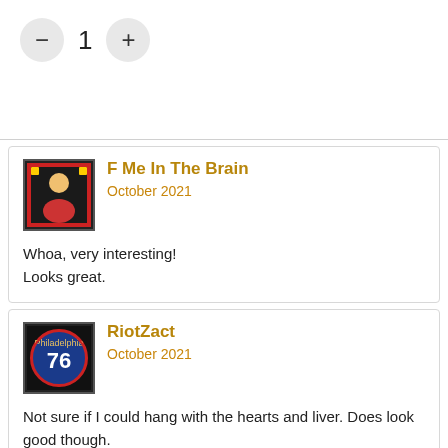[Figure (other): Quantity selector with minus button, number 1, and plus button]
F Me In The Brain
October 2021

Whoa, very interesting!
Looks great.
RiotZact
October 2021

Not sure if I could hang with the hearts and liver. Does look good though.